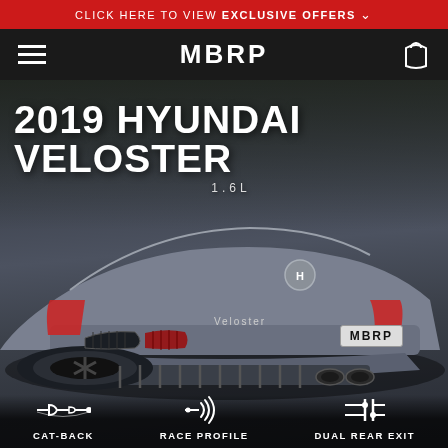CLICK HERE TO VIEW EXCLUSIVE OFFERS
MBRP
[Figure (photo): Rear view of a silver 2019 Hyundai Veloster with an MBRP exhaust system installed, showing dual rear exit pipes. A license plate frame reads MBRP. The car is photographed outdoors with trees in the background.]
2019 HYUNDAI VELOSTER
1.6L
CAT-BACK
RACE PROFILE
DUAL REAR EXIT